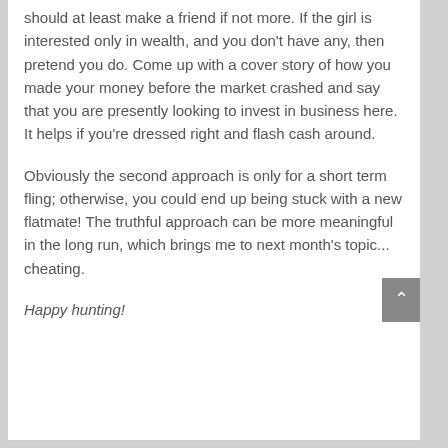should at least make a friend if not more. If the girl is interested only in wealth, and you don't have any, then pretend you do. Come up with a cover story of how you made your money before the market crashed and say that you are presently looking to invest in business here. It helps if you're dressed right and flash cash around.
Obviously the second approach is only for a short term fling; otherwise, you could end up being stuck with a new flatmate! The truthful approach can be more meaningful in the long run, which brings me to next month's topic... cheating.
Happy hunting!